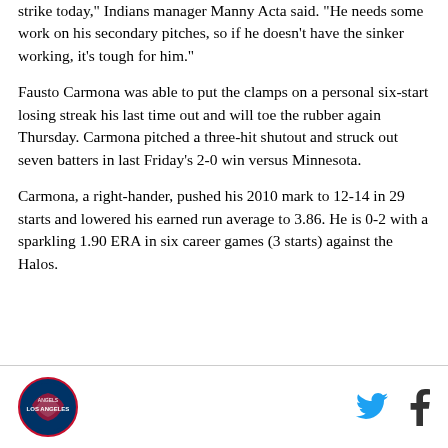strike today," Indians manager Manny Acta said. "He needs some work on his secondary pitches, so if he doesn't have the sinker working, it's tough for him."
Fausto Carmona was able to put the clamps on a personal six-start losing streak his last time out and will toe the rubber again Thursday. Carmona pitched a three-hit shutout and struck out seven batters in last Friday's 2-0 win versus Minnesota.
Carmona, a right-hander, pushed his 2010 mark to 12-14 in 29 starts and lowered his earned run average to 3.86. He is 0-2 with a sparkling 1.90 ERA in six career games (3 starts) against the Halos.
[Figure (logo): Los Angeles Angels logo - circular emblem]